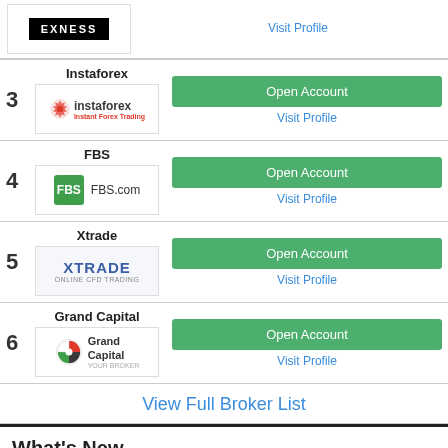3 Instaforex — Open Account, Visit Profile
4 FBS — Open Account, Visit Profile
5 Xtrade — Open Account, Visit Profile
6 Grand Capital — Open Account, Visit Profile
View Full Broker List
What's New
Aron Groups | Free 1000 Cents($10) By Opening Nano